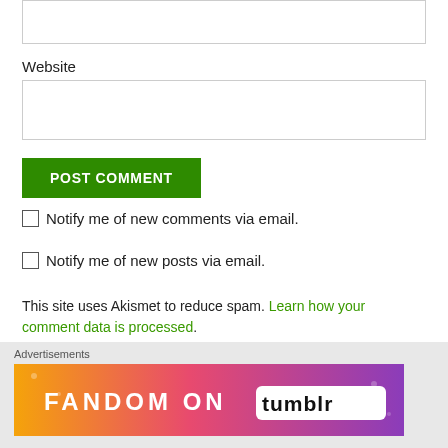Website
[Figure (screenshot): Website text input field (empty)]
[Figure (screenshot): POST COMMENT green button]
Notify me of new comments via email.
Notify me of new posts via email.
This site uses Akismet to reduce spam. Learn how your comment data is processed.
[Figure (screenshot): Close (X) button circle]
Advertisements
[Figure (illustration): Fandom on Tumblr advertisement banner with colorful gradient background]